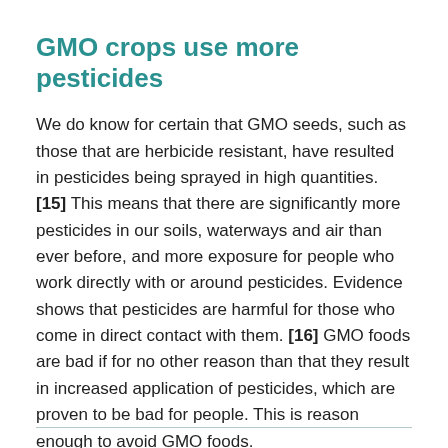GMO crops use more pesticides
We do know for certain that GMO seeds, such as those that are herbicide resistant, have resulted in pesticides being sprayed in high quantities. [15] This means that there are significantly more pesticides in our soils, waterways and air than ever before, and more exposure for people who work directly with or around pesticides. Evidence shows that pesticides are harmful for those who come in direct contact with them. [16] GMO foods are bad if for no other reason than that they result in increased application of pesticides, which are proven to be bad for people. This is reason enough to avoid GMO foods.